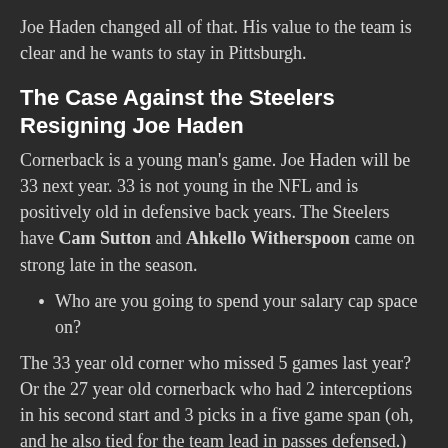Joe Haden changed all of that. His value to the team is clear and he wants to stay in Pittsburgh.
The Case Against the Steelers Resigning Joe Haden
Cornerback is a young man's game. Joe Haden will be 33 next year. 33 is not young in the NFL and is positively old in defensive back years. The Steelers have Cam Sutton and Ahkello Witherspoon came on strong late in the season.
Who are you going to spend your salary cap space on?
The 33 year old corner who missed 5 games last year? Or the 27 year old cornerback who had 2 interceptions in his second start and 3 picks in a five game span (oh, and he also tied for the team lead in passes defensed.)